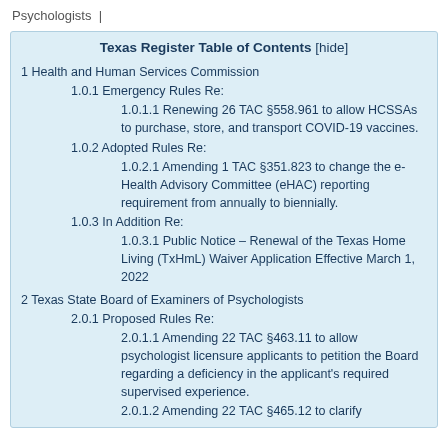Psychologists |
Texas Register Table of Contents [hide]
1 Health and Human Services Commission
1.0.1 Emergency Rules Re:
1.0.1.1 Renewing 26 TAC §558.961 to allow HCSSAs to purchase, store, and transport COVID-19 vaccines.
1.0.2 Adopted Rules Re:
1.0.2.1 Amending 1 TAC §351.823 to change the e-Health Advisory Committee (eHAC) reporting requirement from annually to biennially.
1.0.3 In Addition Re:
1.0.3.1 Public Notice – Renewal of the Texas Home Living (TxHmL) Waiver Application Effective March 1, 2022
2 Texas State Board of Examiners of Psychologists
2.0.1 Proposed Rules Re:
2.0.1.1 Amending 22 TAC §463.11 to allow psychologist licensure applicants to petition the Board regarding a deficiency in the applicant's required supervised experience.
2.0.1.2 Amending 22 TAC §465.12 to clarify...